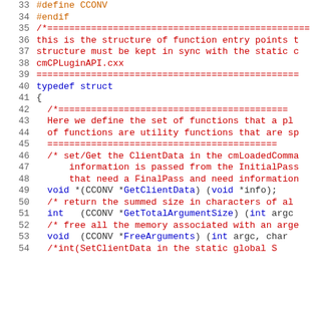33  #define CCONV
34  #endif
35  /*================================================
36  this is the structure of function entry points t
37  structure must be kept in sync with the static c
38  cmCPLuginAPI.cxx
39  ================================================
40  typedef struct
41  {
42    /*============================================
43    Here we define the set of functions that a pl
44    of functions are utility functions that are sp
45    ============================================
46    /* set/Get the ClientData in the cmLoadedComma
47        information is passed from the InitialPass
48        that need a FinalPass and need information
49    void *(CCONV *GetClientData) (void *info);
50    /* return the summed size in characters of al
51    int  (CCONV *GetTotalArgumentSize) (int argc
52    /* free all the memory associated with an arge
53    void  (CCONV *FreeArguments) (int argc, char
54    /* int(SetClientData in the static global S